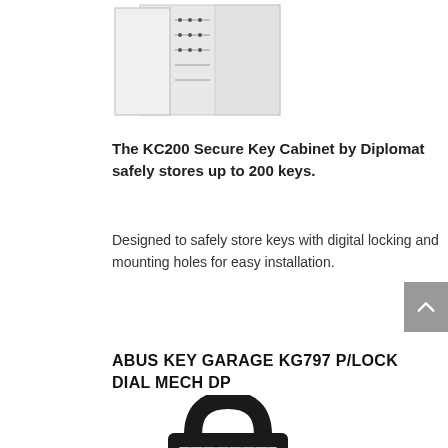[Figure (photo): KC200 Secure Key Cabinet by Diplomat, white cabinet with open door showing key hooks inside]
The KC200 Secure Key Cabinet by Diplomat safely stores up to 200 keys.
Designed to safely store keys with digital locking and mounting holes for easy installation.
ABUS KEY GARAGE KG797 P/LOCK DIAL MECH DP
[Figure (photo): ABUS Key Garage KG797 padlock with dial mechanism, black shackle and body with silver dial]